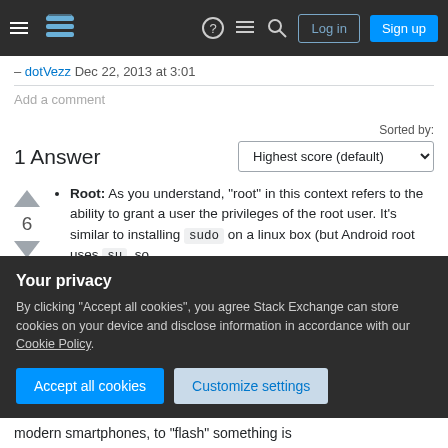Stack Exchange — hamburger menu, logo, help, chat, search, Log in, Sign up
– dotVezz Dec 22, 2013 at 3:01
Add a comment
1 Answer
Sorted by: Highest score (default)
Root: As you understand, "root" in this context refers to the ability to grant a user the privileges of the root user. It's similar to installing sudo on a linux box (but Android root uses su, so the actual functionality is actually different).
Your privacy
By clicking "Accept all cookies", you agree Stack Exchange can store cookies on your device and disclose information in accordance with our Cookie Policy.
modern smartphones, to "flash" something is